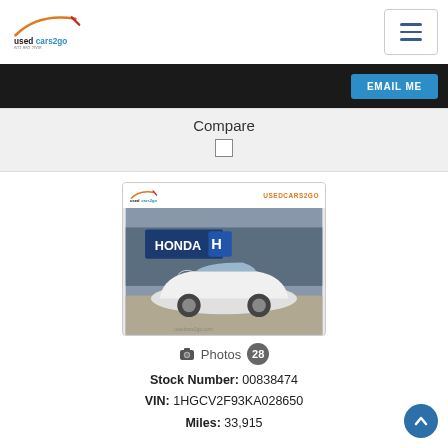[Figure (logo): usedcars2go logo with orange/gold swoosh and text]
EMAIL ME
Compare
[Figure (photo): White Honda Accord sedan photographed at a Honda dealership, with usedcars2go branding overlay]
Photos 28
Stock Number: 00838474
VIN: 1HGCV2F93KA028650
Miles: 33,915